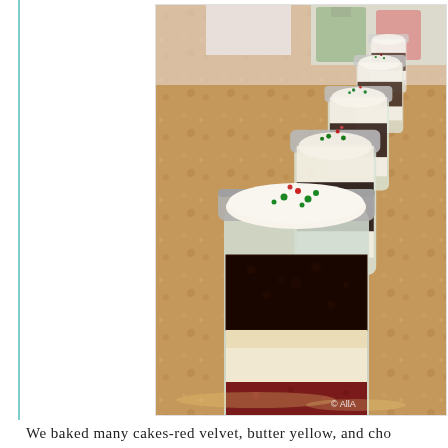[Figure (photo): Photo of multiple mason jars filled with layered cake desserts — red velvet and other cake layers with cream cheese frosting and holiday sprinkles on top, arranged in a line on a granite countertop. Christmas gift bags visible in the background. Watermark reads © AllA at bottom right.]
We baked many cakes-red velvet, butter yellow, and cho